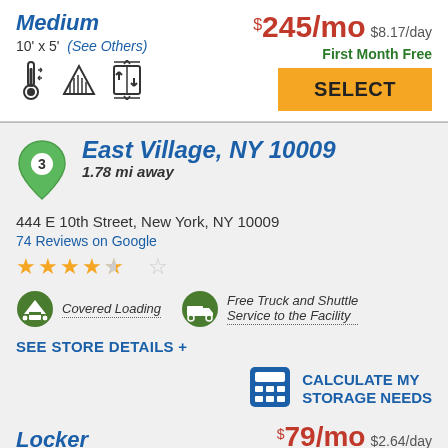Medium
10' x 5'  (See Others)
$245/mo  $8.17/day
First Month Free
SELECT
East Village, NY 10009
1.78 mi away
444 E 10th Street, New York, NY 10009
74 Reviews on Google
★★★★½
Covered Loading
Free Truck and Shuttle Service to the Facility
SEE STORE DETAILS +
CALCULATE MY STORAGE NEEDS
Locker
$79/mo  $2.64/day